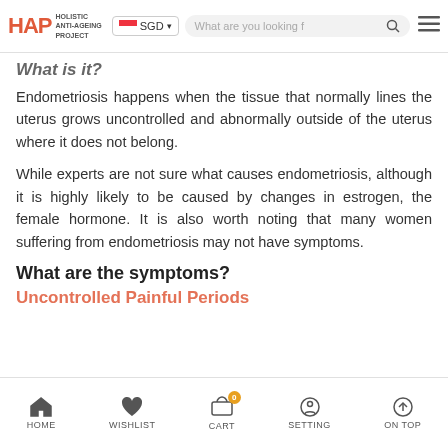HAP Holistic Anti-Ageing Project | SGD | Search
What is it?
Endometriosis happens when the tissue that normally lines the uterus grows uncontrolled and abnormally outside of the uterus where it does not belong.
While experts are not sure what causes endometriosis, although it is highly likely to be caused by changes in estrogen, the female hormone. It is also worth noting that many women suffering from endometriosis may not have symptoms.
What are the symptoms?
HOME | WISHLIST | CART | SETTING | ON TOP